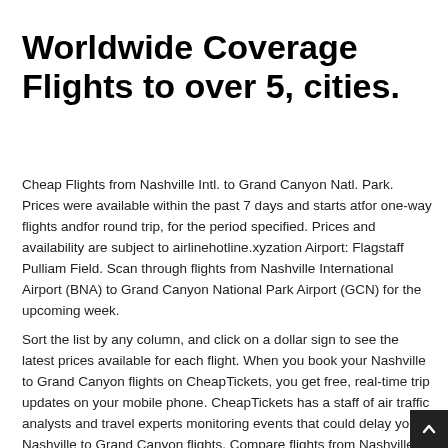Worldwide Coverage Flights to over 5, cities.
Cheap Flights from Nashville Intl. to Grand Canyon Natl. Park. Prices were available within the past 7 days and starts atfor one-way flights andfor round trip, for the period specified. Prices and availability are subject to airlinehotline.xyzation Airport: Flagstaff Pulliam Field. Scan through flights from Nashville International Airport (BNA) to Grand Canyon National Park Airport (GCN) for the upcoming week.
Sort the list by any column, and click on a dollar sign to see the latest prices available for each flight. When you book your Nashville to Grand Canyon flights on CheapTickets, you get free, real-time trip updates on your mobile phone. CheapTickets has a staff of air traffic analysts and travel experts monitoring events that could delay your Nashville to Grand Canyon flights. Compare flights from Nashville to Grand Canyon and find cheap tickets